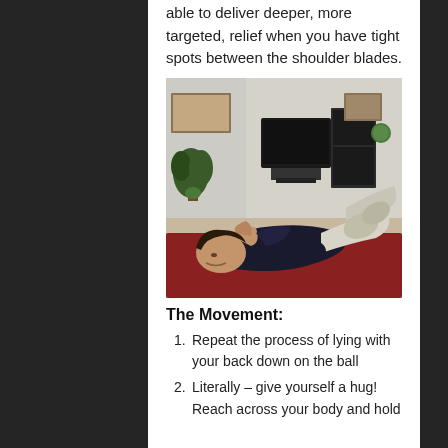able to deliver deeper, more targeted, relief when you have tight spots between the shoulder blades.
[Figure (photo): Man lying on his back on a table with knees bent, hands behind head, performing a thoracic extension exercise over a ball. Living room setting with TV, bookshelf, and plant in background.]
The Movement:
1. Repeat the process of lying with your back down on the ball
2. Literally – give yourself a hug! Reach across your body and hold